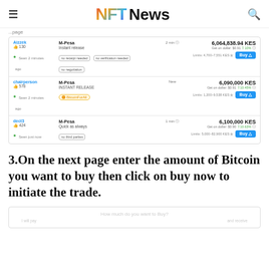NFT News
...page
[Figure (screenshot): Screenshot of a Bitcoin P2P marketplace listing page showing three sellers: Aizzek (M-Pesa, 6,064,838.94 KES), chairperson (M-Pesa, 6,090,000 KES), and dect3 (M-Pesa, 6,100,000 KES), each with Buy buttons.]
3.On the next page enter the amount of Bitcoin you want to buy then click on buy now to initiate the trade.
[Figure (screenshot): Partial screenshot showing a form with placeholder 'How much do you want to Buy?' and two input fields.]